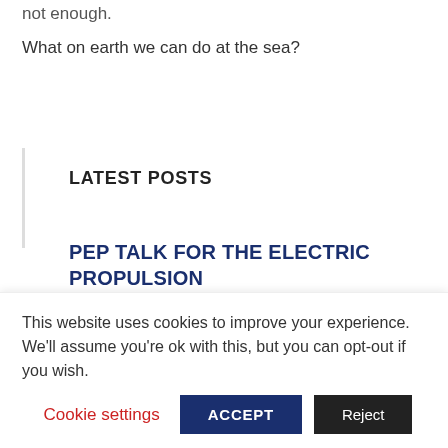not enough.
What on earth we can do at the sea?
LATEST POSTS
PEP TALK FOR THE ELECTRIC PROPULSION
This website uses cookies to improve your experience. We'll assume you're ok with this, but you can opt-out if you wish.
Cookie settings | ACCEPT | Reject